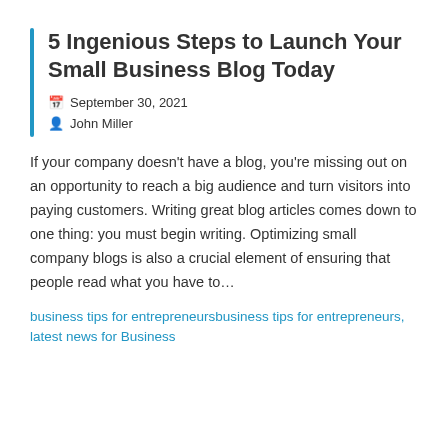5 Ingenious Steps to Launch Your Small Business Blog Today
September 30, 2021
John Miller
If your company doesn't have a blog, you're missing out on an opportunity to reach a big audience and turn visitors into paying customers. Writing great blog articles comes down to one thing: you must begin writing. Optimizing small company blogs is also a crucial element of ensuring that people read what you have to...
business tips for entrepreneursbusiness tips for entrepreneurs, latest news for Business